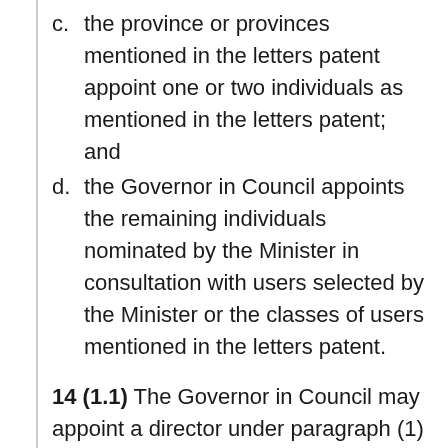c. the province or provinces mentioned in the letters patent appoint one or two individuals as mentioned in the letters patent; and
d. the Governor in Council appoints the remaining individuals nominated by the Minister in consultation with users selected by the Minister or the classes of users mentioned in the letters patent.
14 (1.1) The Governor in Council may appoint a director under paragraph (1)